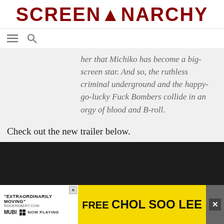SCREENANARCHY
her that Michiko has become a big-screen star. And so, the ruthless criminal underground and the happy-go-lucky Fuck Bombers collide in an orgy of blood and B-roll.
Check out the new trailer below.
[Figure (screenshot): Embedded video player with dark background]
[Figure (screenshot): Advertisement banner: 'EXTRAORDINARILY MOVING' - ROGEREBERT.COM, MUBI NOW PLAYING, FREE CHOL SOO LEE]